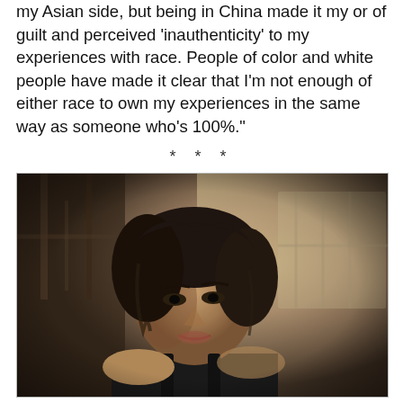my Asian side, but being in China made it my or of guilt and perceived 'inauthenticity' to my experiences with race. People of color and white people have made it clear that I'm not enough of either race to own my experiences in the same way as someone who's 100%."
* * *
[Figure (photo): Portrait photo of a young woman with short dark wavy hair wearing a black top, photographed in a dramatic industrial setting with window light in the background.]
Agents of SHIELD's Chloe Bennet: Why I Stopped Using My Chinese Last Name: Chloe Bennett, who plays TV's